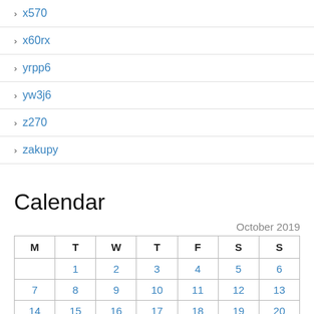x570
x60rx
yrpp6
yw3j6
z270
zakupy
Calendar
October 2019
| M | T | W | T | F | S | S |
| --- | --- | --- | --- | --- | --- | --- |
|  | 1 | 2 | 3 | 4 | 5 | 6 |
| 7 | 8 | 9 | 10 | 11 | 12 | 13 |
| 14 | 15 | 16 | 17 | 18 | 19 | 20 |